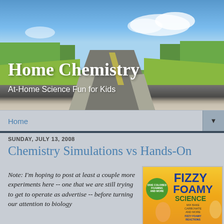[Figure (photo): Website header banner showing a road stretching into the distance with blue sky, clouds, and green trees on either side]
Home Chemistry
At-Home Science Fun for Kids
Home ▼
SUNDAY, JULY 13, 2008
Chemistry Simulations vs Hands-On
Note: I'm hoping to post at least a couple more experiments here -- one that we are still trying to get to operate as advertise -- before turning our attention to biology
[Figure (photo): Book cover: Fizzy Foamy Science - Mix Bake Carbonate and More Fizzy Foamy Reactions]